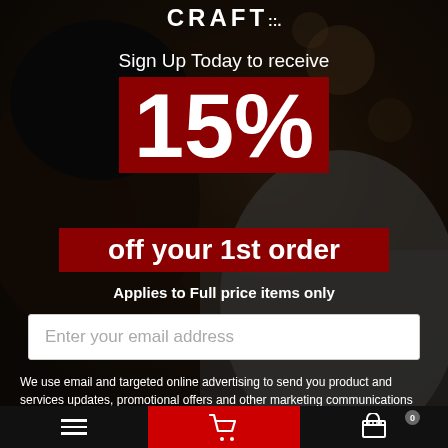[Figure (photo): Background photo of a cyclist wearing a helmet in dark outdoor setting with bokeh background]
CRAFT
Sign Up Today to receive
15%
off your 1st order
Applies to Full price items only
Enter your email address
We use email and targeted online advertising to send you product and services updates, promotional offers and other marketing communications based on the information we collect about you, such as your email address, general location, and purchase and website browsing history.
We process your personal data as stated in our Privacy Policy {insert privacy policy link}. You may withdraw your consent or manage your